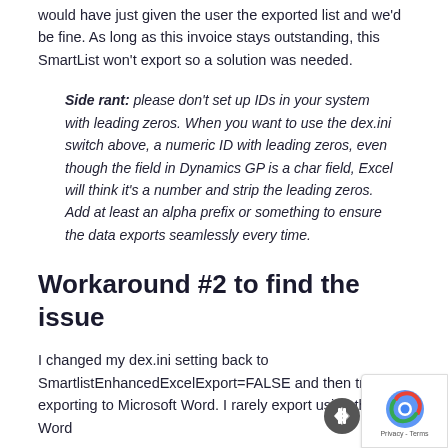would have just given the user the exported list and we'd be fine. As long as this invoice stays outstanding, this SmartList won't export so a solution was needed.
Side rant: please don't set up IDs in your system with leading zeros. When you want to use the dex.ini switch above, a numeric ID with leading zeros, even though the field in Dynamics GP is a char field, Excel will think it's a number and strip the leading zeros. Add at least an alpha prefix or something to ensure the data exports seamlessly every time.
Workaround #2 to find the issue
I changed my dex.ini setting back to SmartlistEnhancedExcelExport=FALSE and then tried exporting to Microsoft Word. I rarely export using the Word